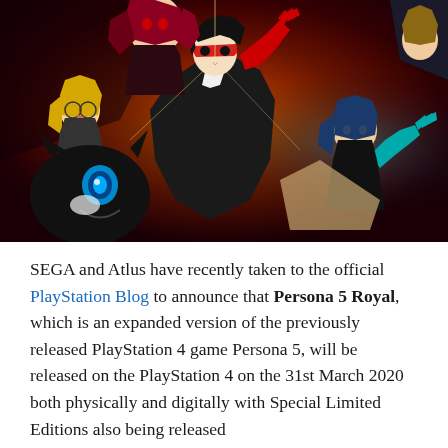[Figure (illustration): Anime-style promotional artwork for Persona 5 Royal featuring multiple characters on a red background. Central figure is a young man in a black costume with a red mask. Surrounding characters include a girl with red hair, a character with glasses and blonde hair, a large black creature with blue eyes, and other characters in dramatic poses.]
SEGA and Atlus have recently taken to the official PlayStation Blog to announce that Persona 5 Royal, which is an expanded version of the previously released PlayStation 4 game Persona 5, will be released on the PlayStation 4 on the 31st March 2020 both physically and digitally with Special Limited Editions also being released